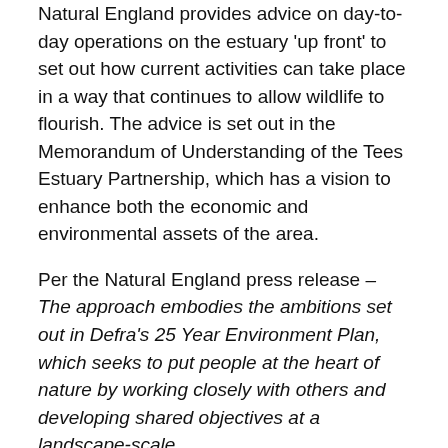Natural England provides advice on day-to-day operations on the estuary 'up front' to set out how current activities can take place in a way that continues to allow wildlife to flourish. The advice is set out in the Memorandum of Understanding of the Tees Estuary Partnership, which has a vision to enhance both the economic and environmental assets of the area.
Per the Natural England press release – The approach embodies the ambitions set out in Defra's 25 Year Environment Plan, which seeks to put people at the heart of nature by working closely with others and developing shared objectives at a landscape-scale.
The consultation on the SSSI took place alongside a consultation on the extension of the existing Special Protection Area (SPA) and Ramsar site to include additional marine, estuarial and freshwater habitats and...